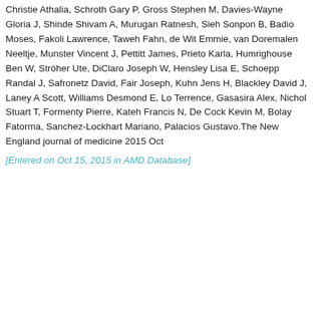Christie Athalia, Schroth Gary P, Gross Stephen M, Davies-Wayne Gloria J, Shinde Shivam A, Murugan Ratnesh, Sieh Sonpon B, Badio Moses, Fakoli Lawrence, Taweh Fahn, de Wit Emmie, van Doremalen Neeltje, Munster Vincent J, Pettitt James, Prieto Karla, Humrighouse Ben W, Ströher Ute, DiClaro Joseph W, Hensley Lisa E, Schoepp Randal J, Safronetz David, Fair Joseph, Kuhn Jens H, Blackley David J, Laney A Scott, Williams Desmond E, Lo Terrence, Gasasira Alex, Nichol Stuart T, Formenty Pierre, Kateh Francis N, De Cock Kevin M, Bolay Fatorma, Sanchez-Lockhart Mariano, Palacios Gustavo.The New England journal of medicine 2015 Oct
[Entered on Oct 15, 2015 in AMD Database]